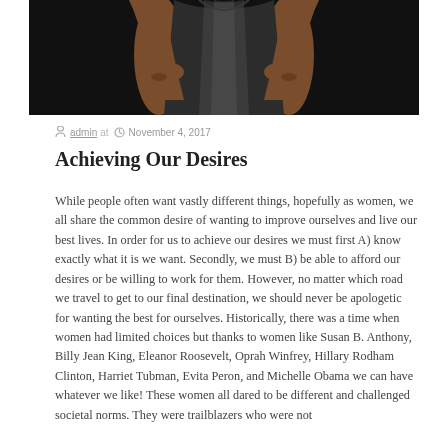[Figure (photo): A woman in a black metallic dress posing against a dark background, cropped to show torso and hands on hips.]
admin at  November 4, 2017
Achieving Our Desires
While people often want vastly different things, hopefully as women, we all share the common desire of wanting to improve ourselves and live our best lives. In order for us to achieve our desires we must first A) know exactly what it is we want. Secondly, we must B) be able to afford our desires or be willing to work for them. However, no matter which road we travel to get to our final destination, we should never be apologetic for wanting the best for ourselves. Historically, there was a time when women had limited choices but thanks to women like Susan B. Anthony, Billy Jean King, Eleanor Roosevelt, Oprah Winfrey, Hillary Rodham Clinton, Harriet Tubman, Evita Peron, and Michelle Obama we can have whatever we like! These women all dared to be different and challenged societal norms. They were trailblazers who were not